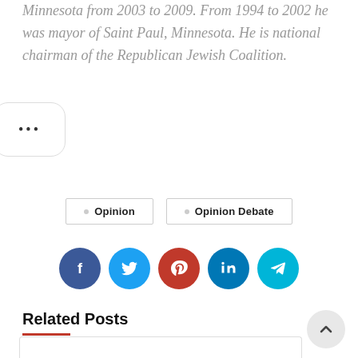Minnesota from 2003 to 2009. From 1994 to 2002 he was mayor of Saint Paul, Minnesota. He is national chairman of the Republican Jewish Coalition.
[Figure (other): Ellipsis button (three dots) in a rounded rectangle border]
[Figure (other): Tag buttons: Opinion and Opinion Debate with dot icons]
[Figure (other): Social media share icons row: Facebook (dark blue), Twitter (light blue), Pinterest (red), LinkedIn (dark blue), Telegram (teal)]
Related Posts
[Figure (other): Back to top arrow button (chevron up) in grey circle, bottom right]
[Figure (other): Card preview box at bottom of page]